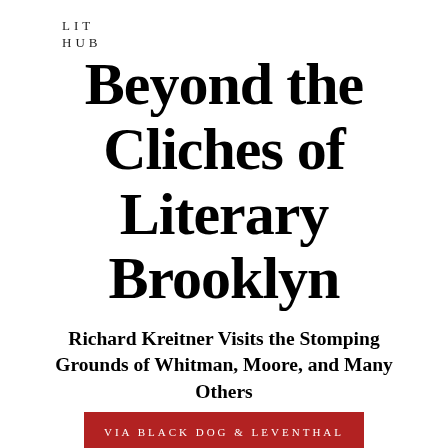LIT
HUB
Beyond the Cliches of Literary Brooklyn
Richard Kreitner Visits the Stomping Grounds of Whitman, Moore, and Many Others
VIA BLACK DOG & LEVENTHAL